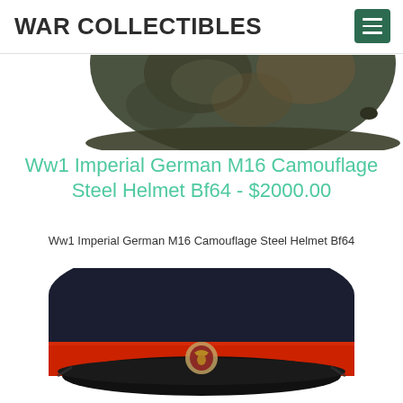WAR COLLECTIBLES
[Figure (photo): Partial view of a WW1 Imperial German M16 camouflage steel helmet, dark greenish-brown color, seen from the top/side against a white background.]
Ww1 Imperial German M16 Camouflage Steel Helmet Bf64 - $2000.00
Ww1 Imperial German M16 Camouflage Steel Helmet Bf64
[Figure (photo): Partial view of a dark navy blue military visor cap with a wide red band and a badge/emblem on the front, seen from front/slightly above, against a white background.]